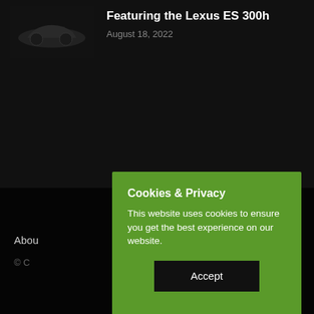[Figure (photo): Dark thumbnail image of a car, likely Lexus ES 300h, in a dark setting]
Featuring the Lexus ES 300h
August 18, 2022
Abou
© C
Cookies & Privacy
This website uses cookies to ensure you get the best experience on our website.
Accept